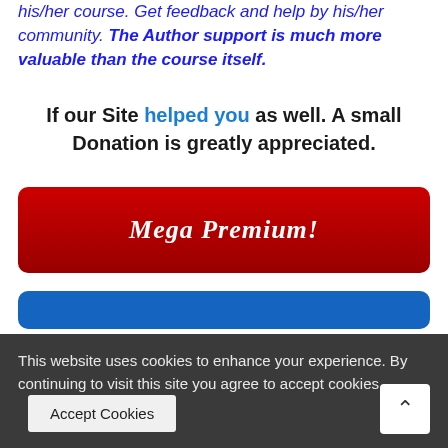his/her course. Get feedback and help by his/her community. The Author support is much more valuable than the course itself.
If our Site helped you as well. A small Donation is greatly appreciated.
[Figure (other): Red button labeled 'Mega Premium!']
[Figure (other): Partially visible blue button]
This website uses cookies to enhance your experience. By continuing to visit this site you agree to accept cookies. Accept Cookies